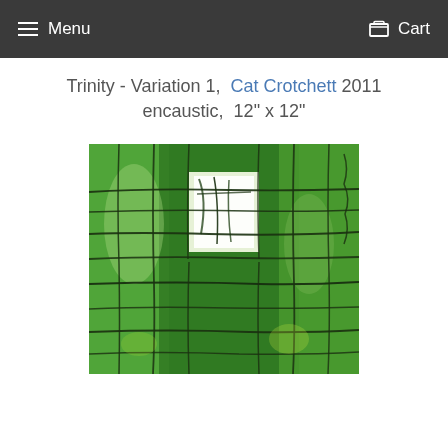Menu   Cart
Trinity - Variation 1,  Cat Crotchett 2011
encaustic,  12" x 12"
[Figure (photo): Close-up photo of an encaustic artwork titled Trinity - Variation 1 by Cat Crotchett (2011). The painting shows layered green wax with dark green grid-like lines crossing over lighter green background areas, with a bright white rectangular highlight in the upper-center area.]